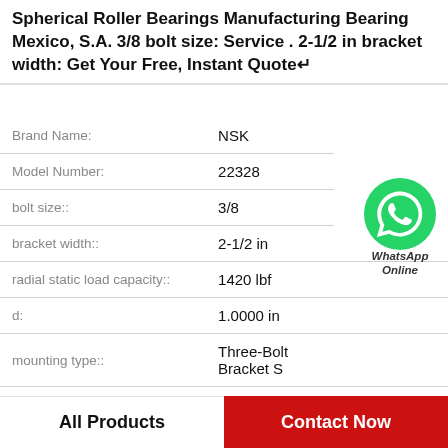Spherical Roller Bearings Manufacturing Bearing Mexico, S.A. 3/8 bolt size: Service . 2-1/2 in bracket width: Get Your Free, Instant Quote↵
| Attribute | Value |
| --- | --- |
| Brand Name: | NSK |
| Model Number: | 22328 |
| bolt size:: | 3/8 |
| bracket width:: | 2-1/2 in |
| radial static load capacity:: | 1420 lbf |
| d: | 1.0000 in |
| mounting type:: | Three-Bolt Bracket S |
| lubrication type:: | Lubrication Fitting |
[Figure (logo): WhatsApp green phone icon with text 'WhatsApp Online']
All Products
Contact Now